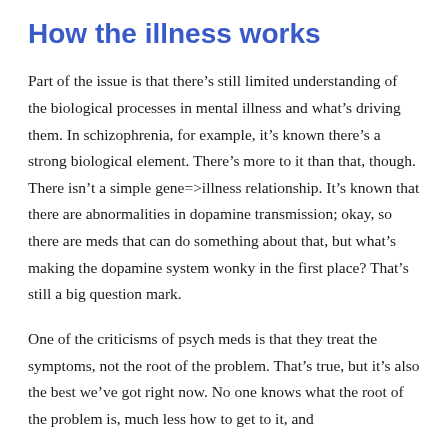How the illness works
Part of the issue is that there’s still limited understanding of the biological processes in mental illness and what’s driving them. In schizophrenia, for example, it’s known there’s a strong biological element. There’s more to it than that, though. There isn’t a simple gene=>illness relationship. It’s known that there are abnormalities in dopamine transmission; okay, so there are meds that can do something about that, but what’s making the dopamine system wonky in the first place? That’s still a big question mark.
One of the criticisms of psych meds is that they treat the symptoms, not the root of the problem. That’s true, but it’s also the best we’ve got right now. No one knows what the root of the problem is, much less how to get to it, and